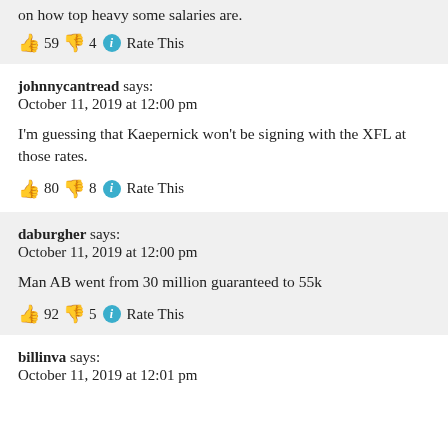on how top heavy some salaries are.
👍 59 👎 4 ℹ Rate This
johnnycantread says:
October 11, 2019 at 12:00 pm
I'm guessing that Kaepernick won't be signing with the XFL at those rates.
👍 80 👎 8 ℹ Rate This
daburgher says:
October 11, 2019 at 12:00 pm
Man AB went from 30 million guaranteed to 55k
👍 92 👎 5 ℹ Rate This
billinva says:
October 11, 2019 at 12:01 pm